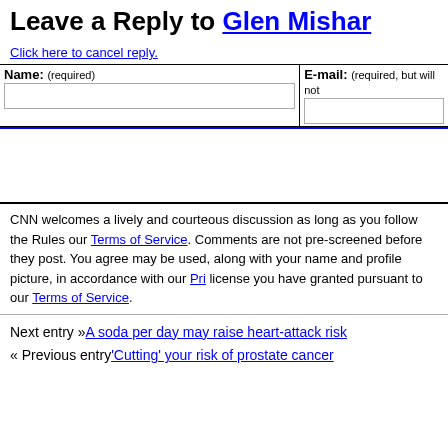Leave a Reply to Glen Mishar
Click here to cancel reply.
| Name: (required) | E-mail: (required, but will not…) |
| --- | --- |
|  |
CNN welcomes a lively and courteous discussion as long as you follow the Rules our Terms of Service. Comments are not pre-screened before they post. You agree may be used, along with your name and profile picture, in accordance with our Pri license you have granted pursuant to our Terms of Service.
Next entry »A soda per day may raise heart-attack risk
« Previous entry'Cutting' your risk of prostate cancer